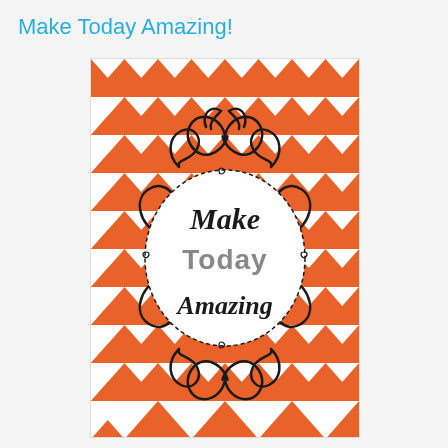Make Today Amazing!
[Figure (illustration): Motivational poster with orange and white chevron background pattern and a decorative swirling black border encircling a white oval with the text 'Make Today Amazing' in mixed hand-lettered fonts]